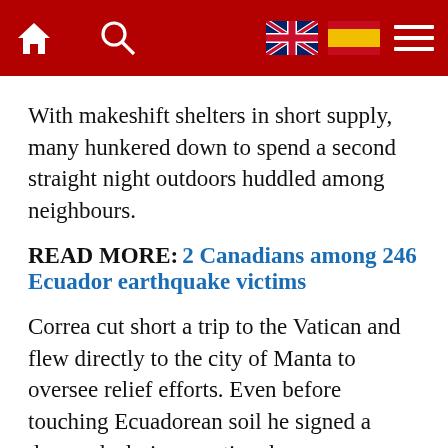Navigation bar with home, search, UK flag, Spain flag, and menu icons
With makeshift shelters in short supply, many hunkered down to spend a second straight night outdoors huddled among neighbours.
READ MORE: 2 Canadians among 246 Ecuador earthquake victims
Correa cut short a trip to the Vatican and flew directly to the city of Manta to oversee relief efforts. Even before touching Ecuadorean soil he signed a decree declaring a national emergency. Speaking from Portoviejo late Sunday he said the earthquake was the worst natural disaster to hit Ecuador since a 1949 earthquake in the Andean city of Ambato, which took over 5,000 lives.
“Our grief is very large, the tragedy is very